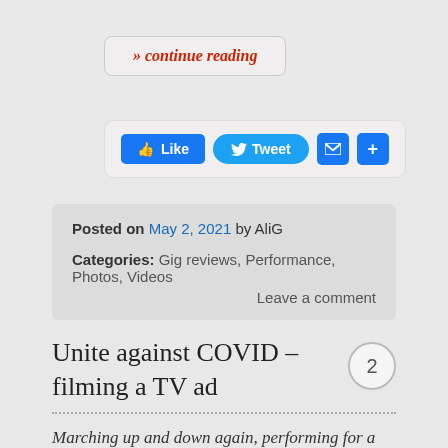» continue reading
[Figure (screenshot): Social sharing buttons: Like (Facebook), Tweet (Twitter), Email, and Share (+)]
Posted on May 2, 2021 by AliG
Categories: Gig reviews, Performance, Photos, Videos
Leave a comment
Unite against COVID – filming a TV ad
2 comments
Marching up and down again, performing for a great cause